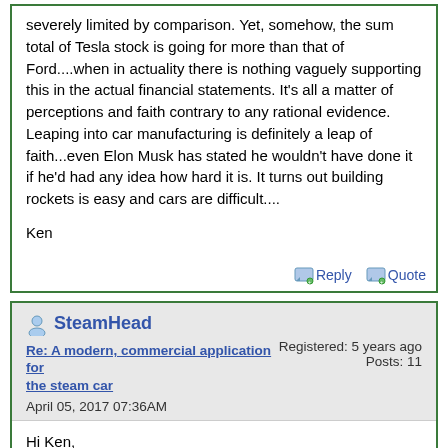severely limited by comparison. Yet, somehow, the sum total of Tesla stock is going for more than that of Ford....when in actuality there is nothing vaguely supporting this in the actual financial statements. It's all a matter of perceptions and faith contrary to any rational evidence. Leaping into car manufacturing is definitely a leap of faith...even Elon Musk has stated he wouldn't have done it if he'd had any idea how hard it is. It turns out building rockets is easy and cars are difficult....
Ken
Reply  Quote
SteamHead
Re: A modern, commercial application for the steam car
April 05, 2017 07:36AM
Registered: 5 years ago
Posts: 11
Hi Ken,
Thanks for the elaborate reply! While I'm not in the automobile industry, I was well aware of most of the obstacles you have pointed out (recalls being a result of